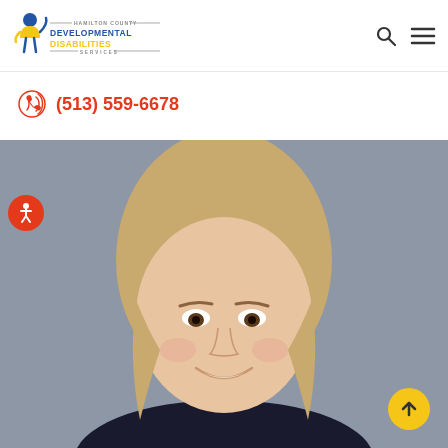Hamilton County Developmental Disabilities Services
(513) 559-6678
[Figure (photo): Headshot photo of a smiling woman with shoulder-length blonde hair against a gray background]
[Figure (logo): Hamilton County Developmental Disabilities Services logo with person icon]